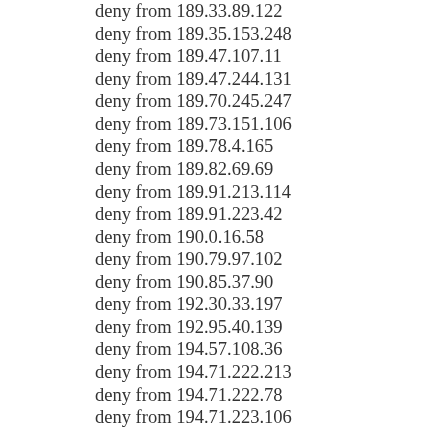deny from 189.33.89.122
deny from 189.35.153.248
deny from 189.47.107.11
deny from 189.47.244.131
deny from 189.70.245.247
deny from 189.73.151.106
deny from 189.78.4.165
deny from 189.82.69.69
deny from 189.91.213.114
deny from 189.91.223.42
deny from 190.0.16.58
deny from 190.79.97.102
deny from 190.85.37.90
deny from 192.30.33.197
deny from 192.95.40.139
deny from 194.57.108.36
deny from 194.71.222.213
deny from 194.71.222.78
deny from 194.71.223.106